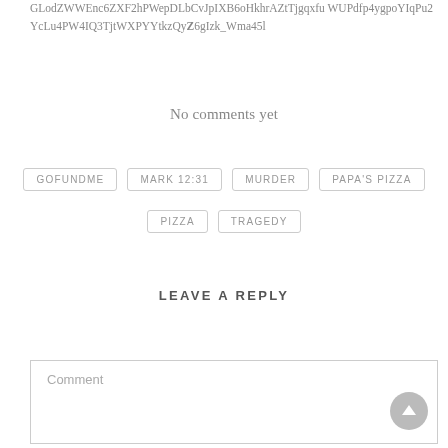GLodZWWEnc6ZXF2hPWepDLbCvJpIXB6oHkhrAZtTjgqxfu WUPdfp4ygpoYIqPu2YcLu4PW4IQ3TjtWXPYYtkzQyZ6gIzk_Wma45l
No comments yet
GOFUNDME
MARK 12:31
MURDER
PAPA'S PIZZA
PIZZA
TRAGEDY
LEAVE A REPLY
Comment